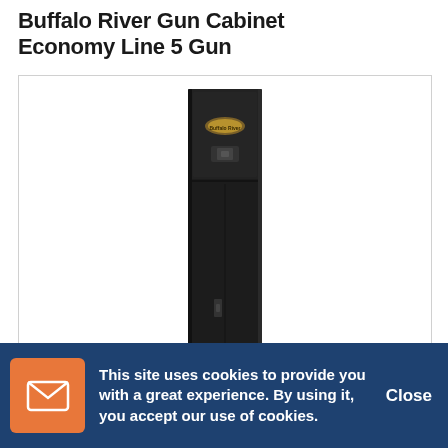Buffalo River Gun Cabinet Economy Line 5 Gun
[Figure (photo): A tall, narrow black gun cabinet (Buffalo River Economy Line 5 Gun) photographed against a white background. The cabinet is predominantly black metal, has a lock mechanism in the upper portion and another near the bottom, and a small gold/bronze logo badge near the top.]
Out of stock
This site uses cookies to provide you with a great experience. By using it, you accept our use of cookies.